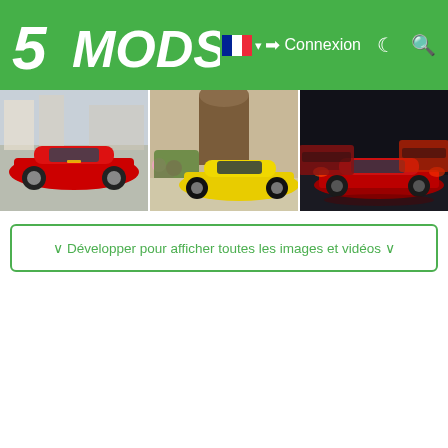5MODS — Connexion
[Figure (screenshot): Gallery strip of three car mod screenshots: red Ferrari on street, yellow Ferrari in courtyard with flowers, red sports cars in garage]
∨ Développer pour afficher toutes les images et vidéos ∨